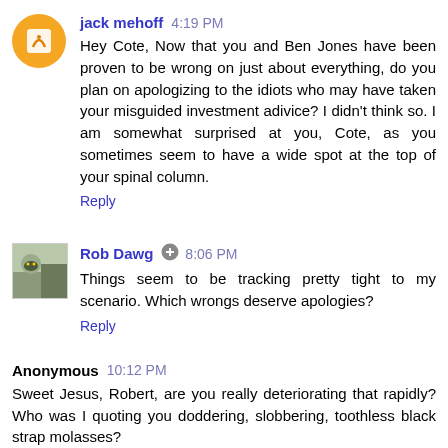jack mehoff 4:19 PM
Hey Cote, Now that you and Ben Jones have been proven to be wrong on just about everything, do you plan on apologizing to the idiots who may have taken your misguided investment adivice? I didn't think so. I am somewhat surprised at you, Cote, as you sometimes seem to have a wide spot at the top of your spinal column.
Reply
Rob Dawg 8:06 PM
Things seem to be tracking pretty tight to my scenario. Which wrongs deserve apologies?
Reply
Anonymous 10:12 PM
Sweet Jesus, Robert, are you really deteriorating that rapidly? Who was I quoting you doddering, slobbering, toothless black strap molasses?